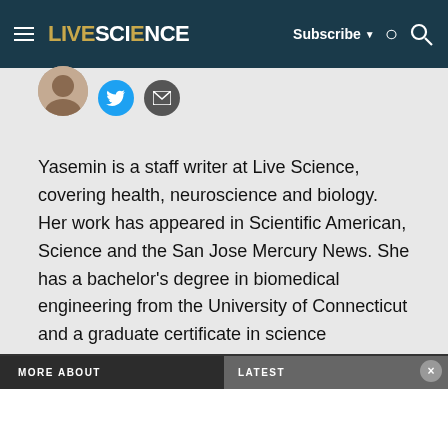LIVESCIENCE  Subscribe  🔍
[Figure (screenshot): Profile avatar photo (partially visible), Twitter icon (blue circle), Email icon (dark circle)]
Yasemin is a staff writer at Live Science, covering health, neuroscience and biology. Her work has appeared in Scientific American, Science and the San Jose Mercury News. She has a bachelor's degree in biomedical engineering from the University of Connecticut and a graduate certificate in science communication from the University of California, Santa Cruz.
MORE ABOUT  LATEST